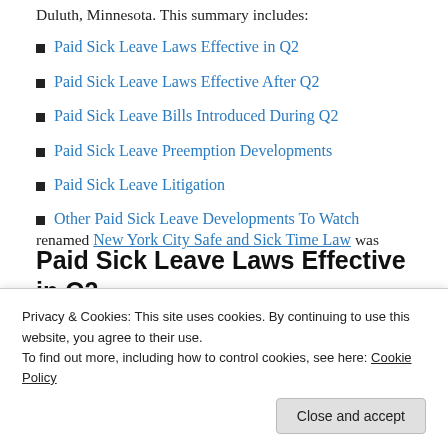Duluth, Minnesota. This summary includes:
Paid Sick Leave Laws Effective in Q2
Paid Sick Leave Laws Effective After Q2
Paid Sick Leave Bills Introduced During Q2
Paid Sick Leave Preemption Developments
Paid Sick Leave Litigation
Other Paid Sick Leave Developments To Watch
Paid Sick Leave Laws Effective in Q2
Rhode Island Healthy and Safe Families and
Privacy & Cookies: This site uses cookies. By continuing to use this website, you agree to their use.
To find out more, including how to control cookies, see here: Cookie Policy
renamed New York City Safe and Sick Time Law was